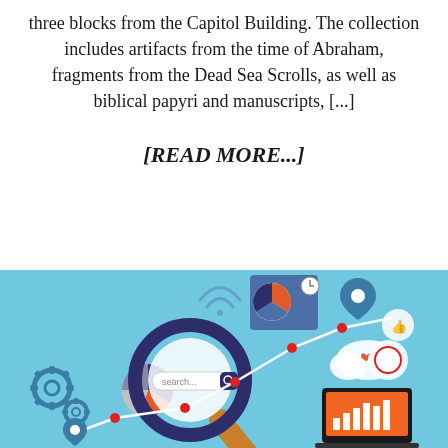three blocks from the Capitol Building. The collection includes artifacts from the time of Abraham, fragments from the Dead Sea Scrolls, as well as biblical papyri and manuscripts, [...]
[READ MORE...]
[Figure (illustration): Digital marketing / SEO infographic illustration on a light blue background featuring a large magnifying glass with a search bar showing 'search...' text, a line chart with red data points, a pie chart, a laptop showing a bar chart, gears, a cloud with icons, a location pin, and various connected nodes.]